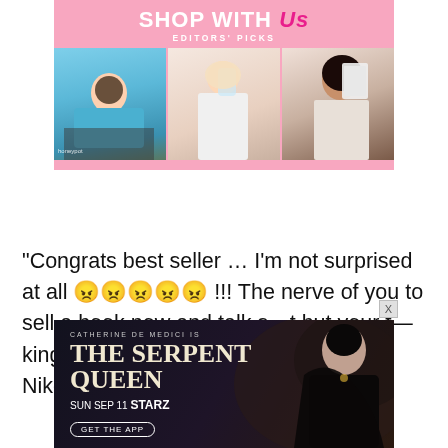[Figure (illustration): Advertisement banner: 'SHOP WITH Us EDITORS' PICKS' in pink with three photo panels showing women (lifestyle/beauty products)]
“Congrats best seller … I’m not surprised at all 😠😠😠😠😠 !!! The nerve of you to sell a book now and talk s—t but your f—king lying just like you lied about Alexa Nikolas !!!!” Britney wrote via
[Figure (illustration): Advertisement banner for 'The Serpent Queen' TV show on Starz, SUN SEP 11, with a woman in dark dramatic costume on dark background]